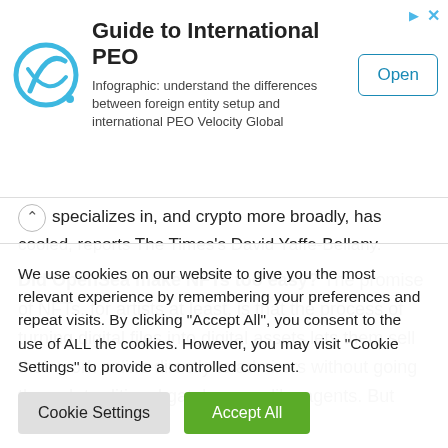[Figure (infographic): Advertisement banner: Guide to International PEO with circular logo, text description, and Open button]
specializes in, and crypto more broadly, has cooled, reports The Times's David Yaffe-Bellany.
Did OpenSea make NFTs too easy? The promise of NFTs, for artists at least, is that the process of turning digital files into digital assets lets them sell their work online directly to admirers without going through traditional gatekeepers like agents. But OpenSea
We use cookies on our website to give you the most relevant experience by remembering your preferences and repeat visits. By clicking "Accept All", you consent to the use of ALL the cookies. However, you may visit "Cookie Settings" to provide a controlled consent.